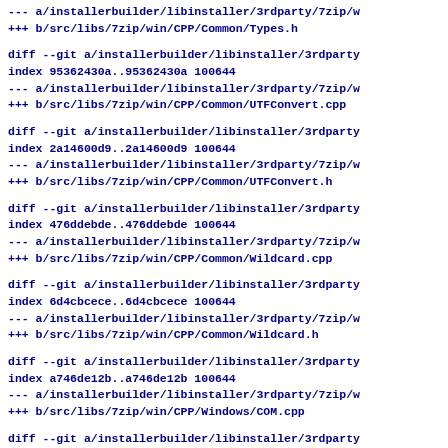--- a/installerbuilder/libinstaller/3rdparty/7zip/w
+++ b/src/libs/7zip/win/CPP/Common/Types.h
diff --git a/installerbuilder/libinstaller/3rdparty
index 95362430a..95362430a 100644
--- a/installerbuilder/libinstaller/3rdparty/7zip/w
+++ b/src/libs/7zip/win/CPP/Common/UTFConvert.cpp
diff --git a/installerbuilder/libinstaller/3rdparty
index 2a14600d9..2a14600d9 100644
--- a/installerbuilder/libinstaller/3rdparty/7zip/w
+++ b/src/libs/7zip/win/CPP/Common/UTFConvert.h
diff --git a/installerbuilder/libinstaller/3rdparty
index 476ddebde..476ddebde 100644
--- a/installerbuilder/libinstaller/3rdparty/7zip/w
+++ b/src/libs/7zip/win/CPP/Common/Wildcard.cpp
diff --git a/installerbuilder/libinstaller/3rdparty
index 6d4cbcece..6d4cbcece 100644
--- a/installerbuilder/libinstaller/3rdparty/7zip/w
+++ b/src/libs/7zip/win/CPP/Common/Wildcard.h
diff --git a/installerbuilder/libinstaller/3rdparty
index a746de12b..a746de12b 100644
--- a/installerbuilder/libinstaller/3rdparty/7zip/w
+++ b/src/libs/7zip/win/CPP/Windows/COM.cpp
diff --git a/installerbuilder/libinstaller/3rdparty
index 506bbbc64..506bbbc64 100644
--- a/installerbuilder/libinstaller/3rdparty/7zip/w